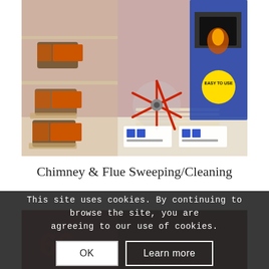[Figure (photo): Photo of chimney and flue sweeping/cleaning products on a shelf: fire logs in orange packaging on the left, chimney brush with red handle and long rods in center, and chimney cleaning kit packaging on the right. Price tags visible at the bottom.]
Chimney & Flue Sweeping/Cleaning
This site uses cookies. By continuing to browse the site, you are agreeing to our use of cookies.
OK
Learn more
[Figure (photo): Partial view of a dark red/brick background with text partially visible, overlaid by cookie consent banner.]